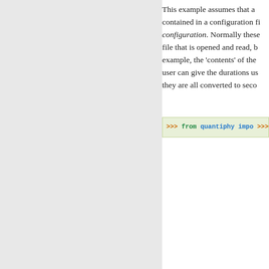This example assumes that a … contained in a configuration fi… configuration. Normally these … file that is opened and read, b… example, the 'contents' of the… user can give the durations us… they are all converted to seco…
[Figure (screenshot): Python interactive code block showing quantiphy UnitConversion examples with configuration string for time_to_live, time_limit, time_out settings and Quantity.set_prefs, limits assignment, and for loop]